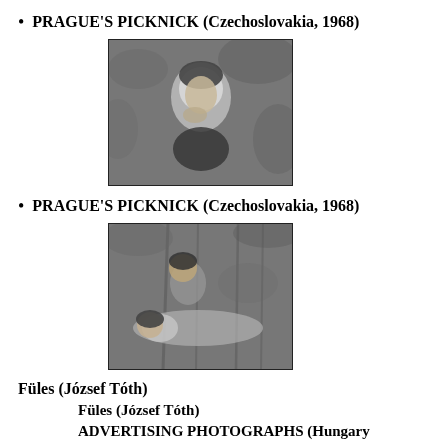PRAGUE'S PICKNICK (Czechoslovakia, 1968)
[Figure (photo): Black and white photo of a young woman with short dark hair, hand near her mouth, outdoors in a garden/nature setting.]
PRAGUE'S PICKNICK (Czechoslovakia, 1968)
[Figure (photo): Black and white photo of two people in an outdoor setting, one leaning over the other who is lying down, trees/branches in the background.]
Füles (József Tóth)
Füles (József Tóth)
ADVERTISING PHOTOGRAPHS (Hungary